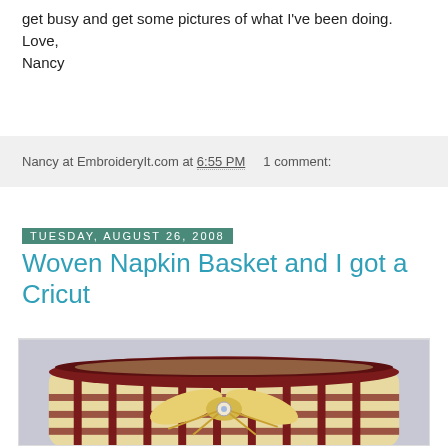get busy and get some pictures of what I've been doing.
Love,
Nancy
Nancy at EmbroideryIt.com at 6:55 PM   1 comment:
Tuesday, August 26, 2008
Woven Napkin Basket and I got a Cricut
[Figure (photo): Photo of a woven napkin basket with dark burgundy/maroon and natural wood strips, featuring a decorative raffia bow with a small floral embellishment in the center front.]